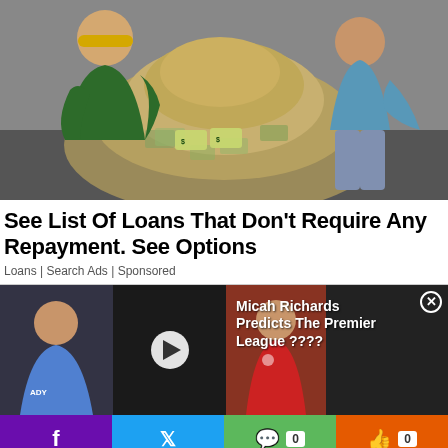[Figure (photo): Two people posing around a large pile of paper money/cash bills on the floor. One person on the left wearing a green jacket and yellow cap, smiling. One person on the right wearing a blue top.]
See List Of Loans That Don't Require Any Repayment. See Options
Loans | Search Ads | Sponsored
[Figure (screenshot): Video player showing Premier League football players. Left panel shows a footballer in blue Manchester City kit. Center panel shows a dark-skinned person with a play button overlay. Right panel shows a footballer in red Liverpool kit. Text overlay reads: Micah Richards Predicts The Premier League ????]
Micah Richards Predicts The Premier League ????